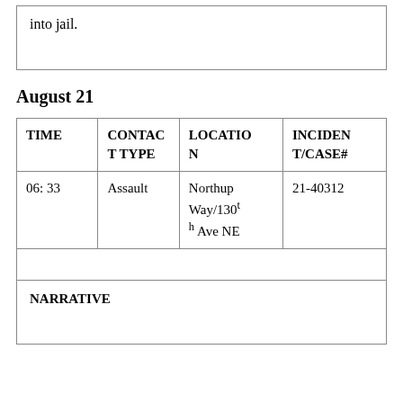into jail.
August 21
| TIME | CONTACT TYPE | LOCATION | INCIDENT/CASE# |
| --- | --- | --- | --- |
| 06: 33 | Assault | Northup Way/130th Ave NE | 21-40312 |
NARRATIVE